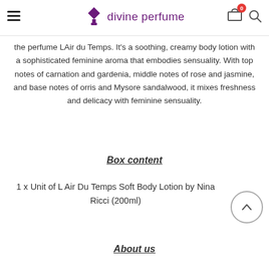divine perfume — navigation header with logo, hamburger menu, cart (0), and search icon
the perfume LAir du Temps. It's a soothing, creamy body lotion with a sophisticated feminine aroma that embodies sensuality. With top notes of carnation and gardenia, middle notes of rose and jasmine, and base notes of orris and Mysore sandalwood, it mixes freshness and delicacy with feminine sensuality.
Box content
1 x Unit of L Air Du Temps Soft Body Lotion by Nina Ricci (200ml)
About us